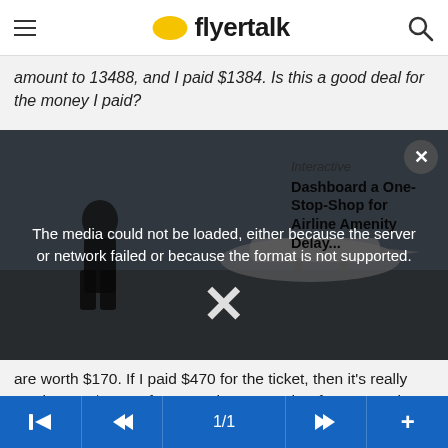flyertalk
amount to 13488, and I paid $1384. Is this a good deal for the money I paid?
[Figure (screenshot): Video player showing airport scene with a person near aircraft. A media error overlay reads: 'The media could not be loaded, either because the server or network failed or because the format is not supported.' A close (x) button is in the top right. An X dismiss button appears at center bottom. A sidebar shows text: 'Interactive Dashboard a One-Stop-Shop for Airline Amenity Delay...']
are worth $170. If I paid $470 for the ticket, then it's really costing me $300. Of course, there are other factors, such as "will I need this trip for 1K" or "will I get more CR1s because I take this trip".
So if I am flying Chicago to Tokyo and I can take a nonstop flight or a connecting flight (and earn 1000 more miles), I can just ask myself if connecting is worth $17.00 more to me. Keeps things in perspective for me.
◄  «  1/1  »  +